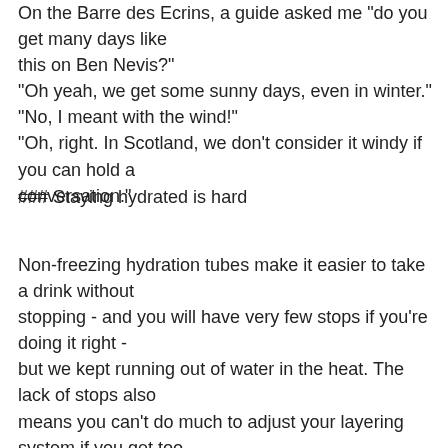On the Barre des Ecrins, a guide asked me "do you get many days like this on Ben Nevis?"
"Oh yeah, we get some sunny days, even in winter."
"No, I meant with the wind!"
"Oh, right. In Scotland, we don't consider it windy if you can hold a conversation."
### Staying hydrated is hard
Non-freezing hydration tubes make it easier to take a drink without stopping - and you will have very few stops if you're doing it right - but we kept running out of water in the heat. The lack of stops also means you can't do much to adjust your layering system if you get too